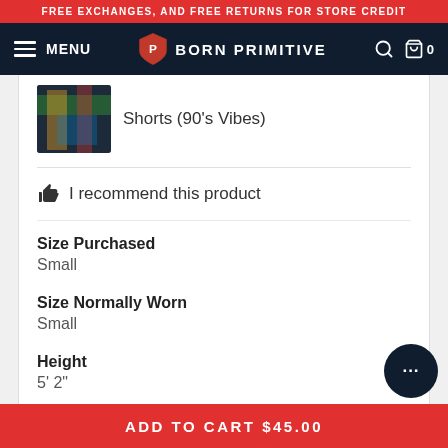FREE EXCHANGES, AND FREE RETURNS FOR STORE CREDIT
MENU | BORN PRIMITIVE
Shorts (90's Vibes)
👍 I recommend this product
Size Purchased
Small
Size Normally Worn
Small
Height
5' 2"
Performance
Running, Weightlifting, Going Out, Everyday Wear
ADD TO CART $45.00